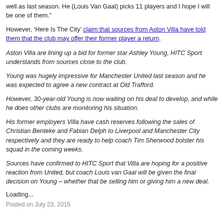well as last season. He (Louis Van Gaal) picks 11 players and I hope I will be one of them.”
However, ‘Here Is The City’ claim that sources from Aston Villa have told them that the club may offer their former player a return.
Aston Villa are lining up a bid for former star Ashley Young, HITC Sport understands from sources close to the club.
Young was hugely impressive for Manchester United last season and he was expected to agree a new contract at Old Trafford.
However, 30-year-old Young is now waiting on his deal to develop, and while he does other clubs are monitoring his situation.
His former employers Villa have cash reserves following the sales of Christian Benteke and Fabian Delph to Liverpool and Manchester City respectively and they are ready to help coach Tim Sherwood bolster his squad in the coming weeks.
Sources have confirmed to HITC Sport that Villa are hoping for a positive reaction from United, but coach Louis van Gaal will be given the final decision on Young – whether that be selling him or giving him a new deal.
Loading...
Posted on July 23, 2015